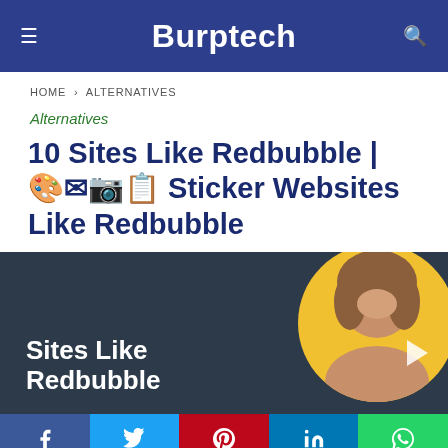Burptech
HOME › ALTERNATIVES
Alternatives
10 Sites Like Redbubble | 🎨 Sticker Websites Like Redbubble
[Figure (photo): Feature image showing text 'Sites Like Redbubble' on dark background with a woman smiling in a yellow circle avatar on the right]
Facebook | Twitter | Pinterest | LinkedIn | WhatsApp social share buttons